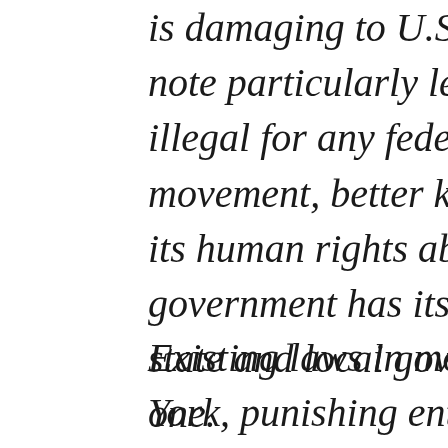is damaging to U.S. interests and to note particularly legislation currently illegal for any federal funding to go movement, better known as BDS. B its human rights abuses that is both government has its hooks all over t state and local government its thre one.
Existing laws in more than twenty s York, punishing entities that suppo